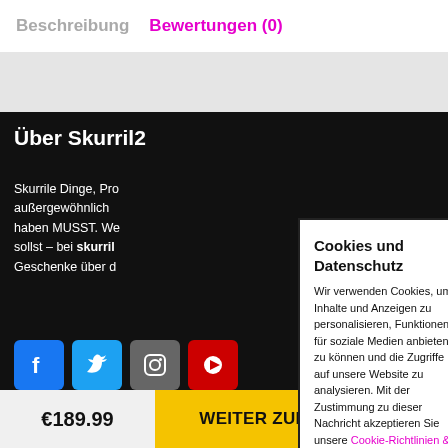Beschreibung  Bewertungen (0)
Über Skurril2...
Skurrile Dinge, Produkte, außergewöhnliche ... haben MUSST. We... sollst – bei skurril... Geschenke über d...
[Figure (screenshot): Social media icons: Facebook (blue), Twitter (light blue), Instagram (gray), partial red icon]
Cookies und Datenschutz
Wir verwenden Cookies, um Inhalte und Anzeigen zu personalisieren, Funktionen für soziale Medien anbieten zu können und die Zugriffe auf unsere Website zu analysieren. Mit der Zustimmung zu dieser Nachricht akzeptieren Sie unsere Cookie-Richtlinien & Datenschutzerklärung.
Cookie Einstellungen
Alle akzeptieren
€189.99
WEITER ZUM ANBIETER